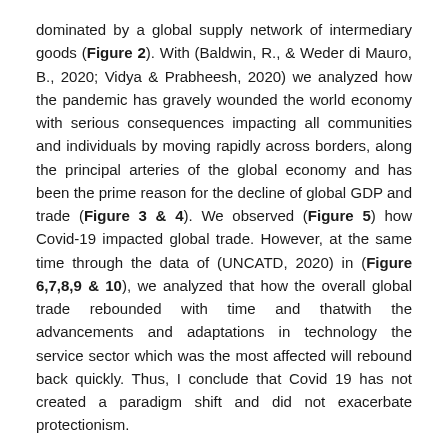dominated by a global supply network of intermediary goods (Figure 2). With (Baldwin, R., & Weder di Mauro, B., 2020; Vidya & Prabheesh, 2020) we analyzed how the pandemic has gravely wounded the world economy with serious consequences impacting all communities and individuals by moving rapidly across borders, along the principal arteries of the global economy and has been the prime reason for the decline of global GDP and trade (Figure 3 & 4). We observed (Figure 5) how Covid-19 impacted global trade. However, at the same time through the data of (UNCATD, 2020) in (Figure 6,7,8,9 & 10), we analyzed that how the overall global trade rebounded with time and thatwith the advancements and adaptations in technology the service sector which was the most affected will rebound back quickly. Thus, I conclude that Covid 19 has not created a paradigm shift and did not exacerbate protectionism.
RECOMMENDATIONS